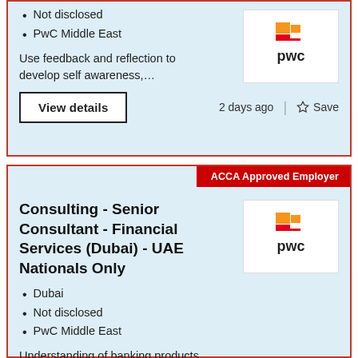Not disclosed
PwC Middle East
Use feedback and reflection to develop self awareness,…
[Figure (logo): PwC Middle East logo — orange and red stacked rectangles above lowercase 'pwc' text]
View details
2 days ago | Save
ACCA Approved Employer
Consulting - Senior Consultant - Financial Services (Dubai) - UAE Nationals Only
Dubai
Not disclosed
PwC Middle East
[Figure (logo): PwC Middle East logo — orange and red stacked rectangles above lowercase 'pwc' text]
Understanding of banking products, consumer banking…